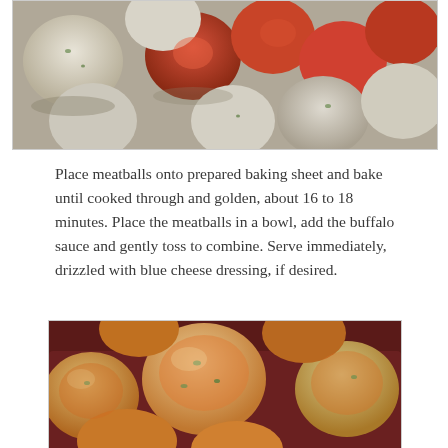[Figure (photo): Close-up photo of meatballs on a baking sheet, some coated in buffalo sauce (orange-red), others appear lighter/plain with green herb flecks, viewed from above.]
Place meatballs onto prepared baking sheet and bake until cooked through and golden, about 16 to 18 minutes. Place the meatballs in a bowl, add the buffalo sauce and gently toss to combine. Serve immediately, drizzled with blue cheese dressing, if desired.
[Figure (photo): Close-up photo of buffalo meatballs on a dark red/maroon plate, coated in orange buffalo sauce with visible herb flecks, photographed close up showing texture.]